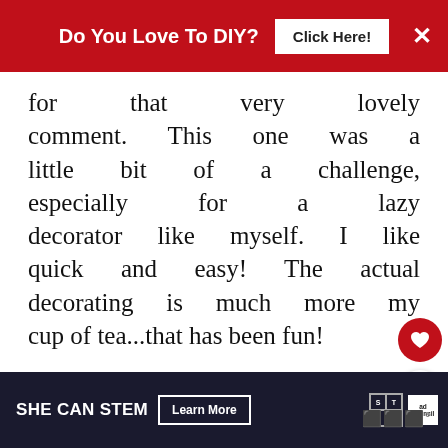[Figure (screenshot): Red ad banner with text 'Do You Love To DIY?', a 'Click Here!' button, and a close X button]
for that very lovely comment. This one was a little bit of a challenge, especially for a lazy decorator like myself. I like quick and easy! The actual decorating is much more my cup of tea...that has been fun!
DELETE
REPLY
WHAT'S NEXT → Replacing Corded...
[Figure (screenshot): SHE CAN STEM advertisement banner with Learn More button, STEM logo, and Ad Council logo]